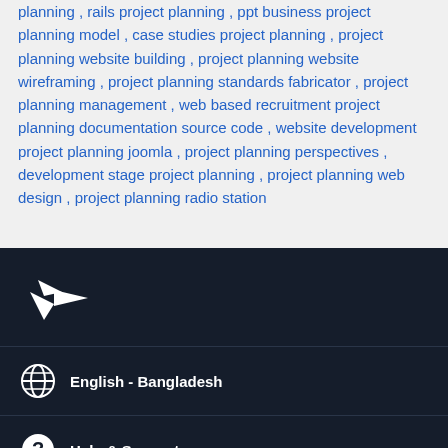planning , rails project planning , ppt business project planning model , case studies project planning , project planning website building , project planning website wireframing , project planning standards fabricator , project planning management , web based recruitment project planning documentation source code , website development project planning joomla , project planning perspectives , development stage project planning , project planning web design , project planning radio station
[Figure (logo): White bird/hummingbird logo on dark navy background]
English - Bangladesh
Help & Support